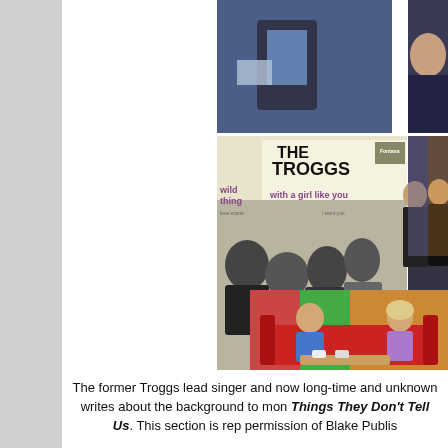[Figure (photo): Collection of photographs: top shows a person holding something with blue background; middle left shows The Troggs 'Wild Thing / With a Girl Like You' record sleeve featuring four band members; middle right shows two men posing together; bottom shows a man in blue shirt and a woman sitting on a red sofa.]
The former Troggs lead singer and now long-time and unknown writes about the background to mon Things They Don't Tell Us. This section is rep permission of Blake Publis